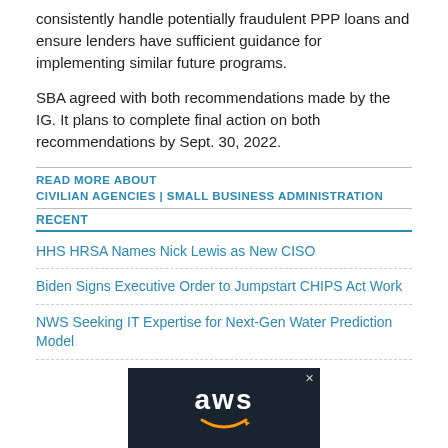consistently handle potentially fraudulent PPP loans and ensure lenders have sufficient guidance for implementing similar future programs.
SBA agreed with both recommendations made by the IG. It plans to complete final action on both recommendations by Sept. 30, 2022.
READ MORE ABOUT
CIVILIAN AGENCIES | SMALL BUSINESS ADMINISTRATION
RECENT
HHS HRSA Names Nick Lewis as New CISO
Biden Signs Executive Order to Jumpstart CHIPS Act Work
NWS Seeking IT Expertise for Next-Gen Water Prediction Model
[Figure (logo): AWS (Amazon Web Services) logo in white text on dark navy background with smile arrow underneath]